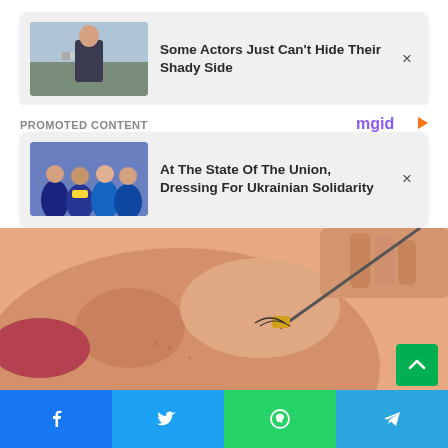[Figure (screenshot): Ad card thumbnail: man in suit holding megaphone outdoors]
Some Actors Just Can't Hide Their Shady Side
PROMOTED CONTENT
[Figure (logo): mgid logo in purple/orange]
[Figure (screenshot): Ad card thumbnail: group of women in blue graduation gowns]
At The State Of The Union, Dressing For Ukrainian Solidarity
[Figure (photo): Close-up of a person's face being treated with a small needle/tool near the eye area, warm skin tones]
[Figure (infographic): Social share bar with Facebook, Twitter, WhatsApp, and Telegram icons]